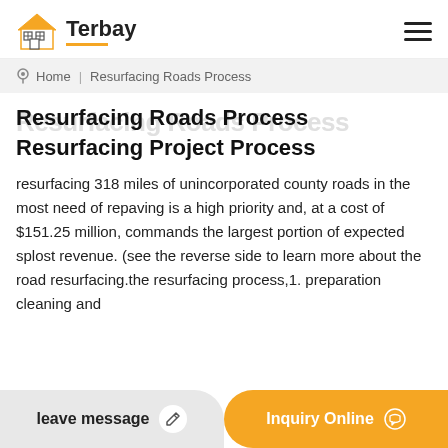Terbay
Home | Resurfacing Roads Process
Resurfacing Roads Process
Resurfacing Project Process
resurfacing 318 miles of unincorporated county roads in the most need of repaving is a high priority and, at a cost of $151.25 million, commands the largest portion of expected splost revenue. (see the reverse side to learn more about the road resurfacing.the resurfacing process,1. preparation cleaning and
leave message
Inquiry Online